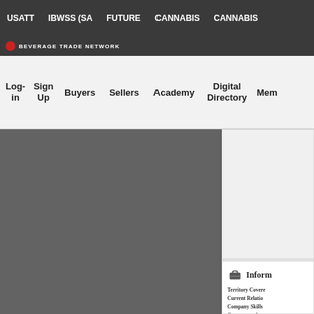USATT   IBWSS (SA   FUTURE   CANNABIS   CANNABIS
[Figure (logo): Beverage Trade Network logo with red circle and white text]
Log-in   Sign Up   Buyers   Sellers   Academy   Digital Directory   Mem
[Figure (screenshot): Gray content area placeholder on left side]
[Figure (screenshot): White card panel on right side with briefcase icon and heading 'Inform...' followed by fields: Territory Covered, Current Relations, Company Skills, Current product, Looking for:, Compensation M, Company Exper, and a red bar at the bottom]